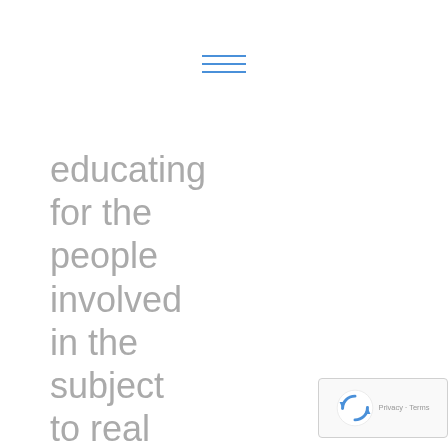[Figure (other): Hamburger menu icon — three horizontal blue lines stacked]
educating for the people involved in the subject to real estate structured deal. Another
[Figure (other): Google reCAPTCHA badge with rotating arrows logo and 'Privacy - Terms' text]